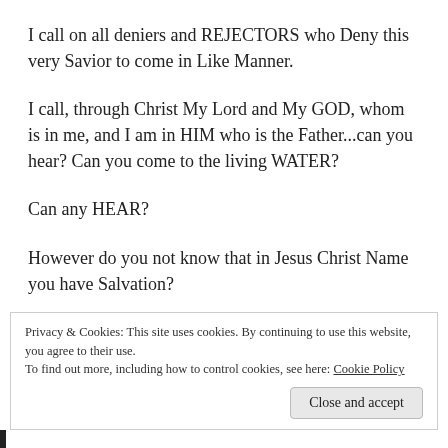I call on all deniers and REJECTORS who Deny this very Savior to come in Like Manner.
I call, through Christ My Lord and My GOD, whom is in me, and I am in HIM who is the Father...can you hear? Can you come to the living WATER?
Can any HEAR?
However do you not know that in Jesus Christ Name you have Salvation?
Privacy & Cookies: This site uses cookies. By continuing to use this website, you agree to their use.
To find out more, including how to control cookies, see here: Cookie Policy
Close and accept